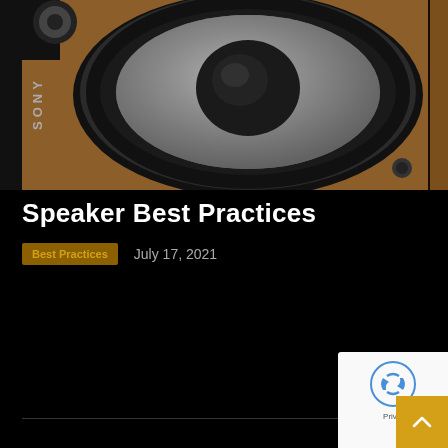[Figure (photo): Close-up photo of a Sony speaker with a large woofer driver visible. The speaker cone is silver/grey mesh with black surround, set in a wooden enclosure. The Sony logo is visible on the left side. Background is black.]
Speaker Best Practices
Best Practices   July 17, 2021